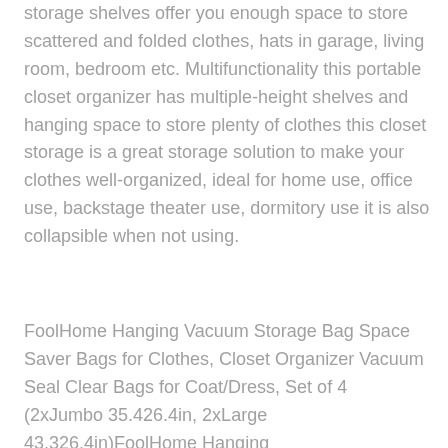storage shelves offer you enough space to store scattered and folded clothes, hats in garage, living room, bedroom etc. Multifunctionality this portable closet organizer has multiple-height shelves and hanging space to store plenty of clothes this closet storage is a great storage solution to make your clothes well-organized, ideal for home use, office use, backstage theater use, dormitory use it is also collapsible when not using.
FoolHome Hanging Vacuum Storage Bag Space Saver Bags for Clothes, Closet Organizer Vacuum Seal Clear Bags for Coat/Dress, Set of 4 (2xJumbo 35.426.4in, 2xLarge 43.326.4in)FoolHome Hanging